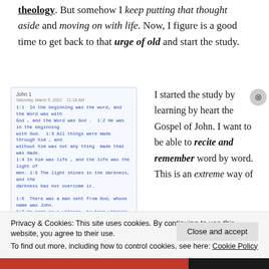theology. But somehow I keep putting that thought aside and moving on with life. Now, I figure is a good time to get back to that urge of old and start the study.
[Figure (photo): Handwritten notebook page showing John 1:1-8 in blue ink with red annotation, titled 'John 1' with a date stamp]
I started the study by learning by heart the Gospel of John. I want to be able to recite and remember word by word. This is an extreme way of
Privacy & Cookies: This site uses cookies. By continuing to use this website, you agree to their use.
To find out more, including how to control cookies, see here: Cookie Policy